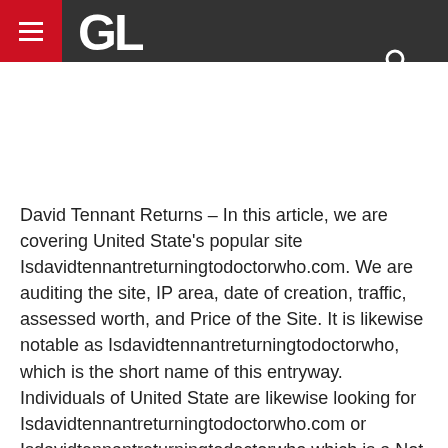GL
David Tennant Returns – In this article, we are covering United State's popular site Isdavidtennantreturningtodoctorwho.com. We are auditing the site, IP area, date of creation, traffic, assessed worth, and Price of the Site. It is likewise notable as Isdavidtennantreturningtodoctorwho, which is the short name of this entryway. Individuals of United State are likewise looking for Isdavidtennantreturningtodoctorwho.com or Isdavidtennantreturningtodoctorwho which is a Not...